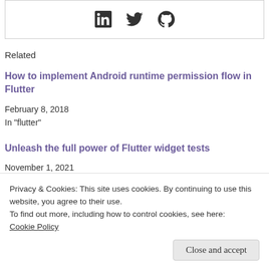[Figure (other): Social media icons: LinkedIn, Twitter, GitHub]
Related
How to implement Android runtime permission flow in Flutter
February 8, 2018
In "flutter"
Unleash the full power of Flutter widget tests
November 1, 2021
Privacy & Cookies: This site uses cookies. By continuing to use this website, you agree to their use.
To find out more, including how to control cookies, see here:
Cookie Policy
Close and accept